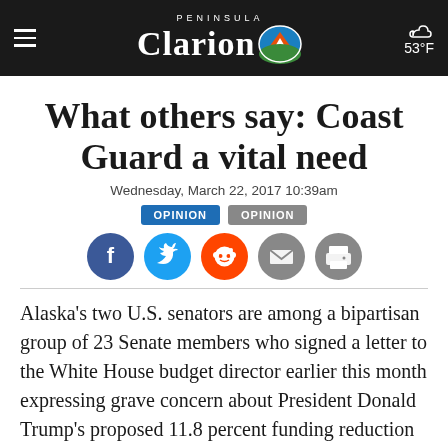Peninsula Clarion — 53°F
What others say: Coast Guard a vital need
Wednesday, March 22, 2017 10:39am
OPINION  OPINION
[Figure (infographic): Social sharing icons: Facebook, Twitter, Reddit, Email, Print]
Alaska's two U.S. senators are among a bipartisan group of 23 Senate members who signed a letter to the White House budget director earlier this month expressing grave concern about President Donald Trump's proposed 11.8 percent funding reduction for the Coast Guard next year.